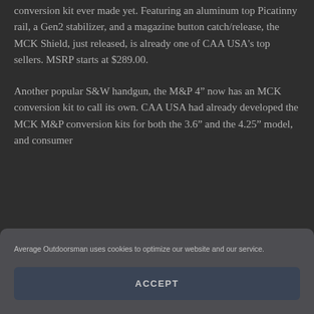conversion kit ever made yet. Featuring an aluminum top Picatinny rail, a Gen2 stabilizer, and a magazine button catch/release, the MCK Shield, just released, is already one of CAA USA's top sellers. MSRP starts at $289.00.
Another popular S&W handgun, the M&P 4" now has an MCK conversion kit to call its own. CAA USA had already developed the MCK M&P conversion kits for both the 3.6" and the 4.25" model, and consumer...
Average Outdoorsman uses cookies to optimize our website and our service.
ACCEPT